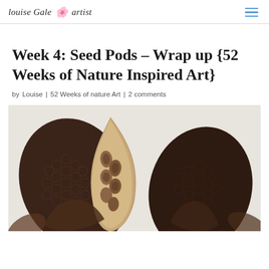louise Gale 🌸 artist
Week 4: Seed Pods – Wrap up {52 Weeks of Nature Inspired Art}
by Louise | 52 Weeks of nature Art | 2 comments
[Figure (photo): Close-up illustration/painting of seed pods, showing detailed botanical artwork with dark brown seed pod structures, honeycomb-like textures, and seeds visible inside, on a light background.]